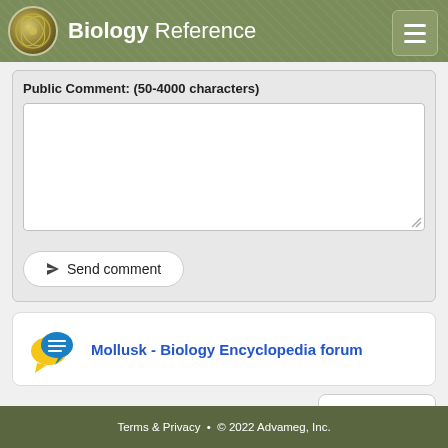Biology Reference
Public Comment: (50-4000 characters)
[Figure (screenshot): Empty text area input for public comment]
Send comment
[Figure (infographic): Forum chat icon with yellow and blue speech bubbles]
Mollusk - Biology Encyclopedia forum
Monocots
Terms & Privacy • © 2022 Advameg, Inc.